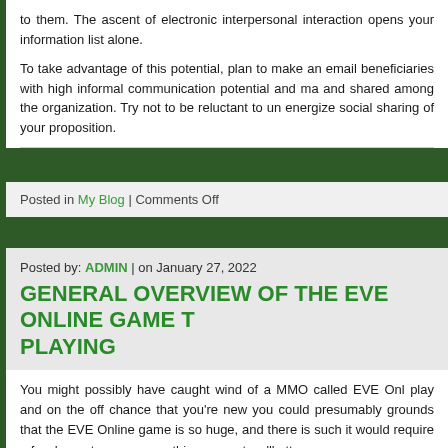to them. The ascent of electronic interpersonal interaction opens your information list alone.
To take advantage of this potential, plan to make an email beneficiaries with high informal communication potential and ma and shared among the organization. Try not to be reluctant to u energize social sharing of your proposition.
Posted in My Blog | Comments Off
Posted by: ADMIN | on January 27, 2022
GENERAL OVERVIEW OF THE EVE ONLINE GAME T PLAYING
You might possibly have caught wind of a MMO called EVE Onl play and on the off chance that you're new you could presumably grounds that the EVE Online game is so huge, and there is such it would require a few hours to cover everything, except we'll atte
The first is an inquiry on many players' psyches. What is the EVE to treat it? EVE Online is a MMORPG set in space, you are a pilot play in. That is the main thing about the game that is concrete.